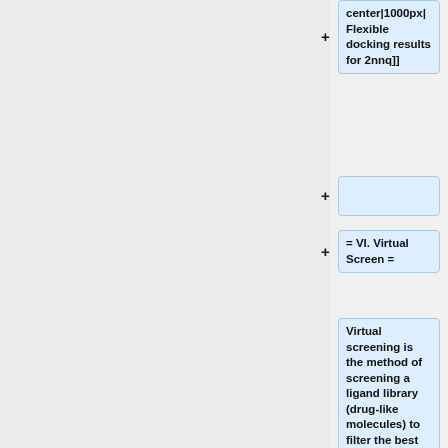center|1000px| Flexible docking results for 2nnq]]
= VI. Virtual Screen =
Virtual screening is the method of screening a ligand library (drug-like molecules) to filter the best ligands which can bind to the binding site of a specific receptor. Here we will be using